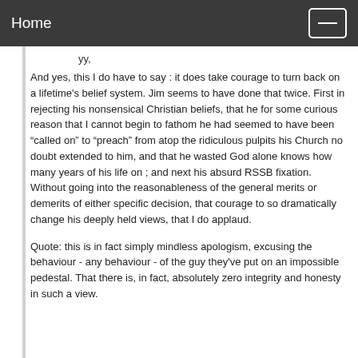Home
yy,
And yes, this I do have to say : it does take courage to turn back on a lifetime's belief system. Jim seems to have done that twice. First in rejecting his nonsensical Christian beliefs, that he for some curious reason that I cannot begin to fathom he had seemed to have been “called on” to “preach” from atop the ridiculous pulpits his Church no doubt extended to him, and that he wasted God alone knows how many years of his life on ; and next his absurd RSSB fixation. Without going into the reasonableness of the general merits or demerits of either specific decision, that courage to so dramatically change his deeply held views, that I do applaud.
Quote: this is in fact simply mindless apologism, excusing the behaviour - any behaviour - of the guy they've put on an impossible pedestal. That there is, in fact, absolutely zero integrity and honesty in such a view.